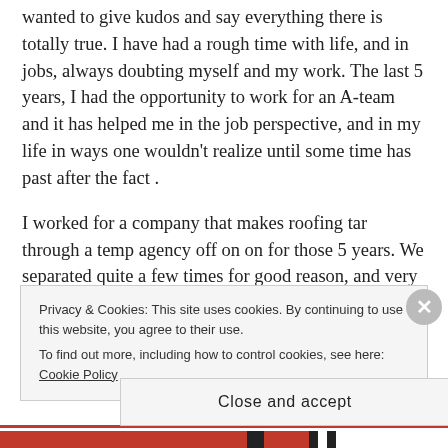wanted to give kudos and say everything there is totally true. I have had a rough time with life, and in jobs, always doubting myself and my work. The last 5 years, I had the opportunity to work for an A-team and it has helped me in the job perspective, and in my life in ways one wouldn't realize until some time has past after the fact .
I worked for a company that makes roofing tar through a temp agency off on on for those 5 years. We separated quite a few times for good reason, and very bad reasons, yet they still took me back
Privacy & Cookies: This site uses cookies. By continuing to use this website, you agree to their use.
To find out more, including how to control cookies, see here: Cookie Policy
Close and accept